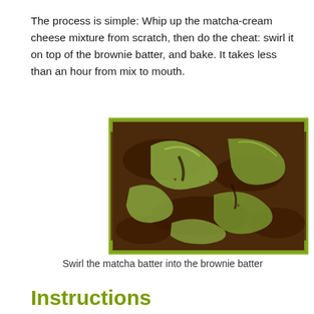The process is simple: Whip up the matcha-cream cheese mixture from scratch, then do the cheat: swirl it on top of the brownie batter, and bake. It takes less than an hour from mix to mouth.
[Figure (photo): Close-up photo of a baking pan showing swirled green matcha cream cheese mixture and dark chocolate brownie batter before baking.]
Swirl the matcha batter into the brownie batter
Instructions